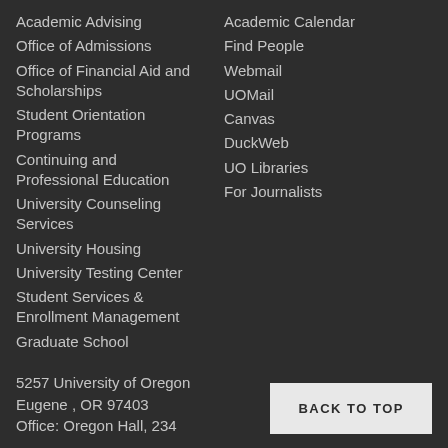Academic Advising
Office of Admissions
Office of Financial Aid and Scholarships
Student Orientation Programs
Continuing and Professional Education
University Counseling Services
University Housing
University Testing Center
Student Services & Enrollment Management
Graduate School
Academic Calendar
Find People
Webmail
UOMail
Canvas
DuckWeb
UO Libraries
For Journalists
5257 University of Oregon
Eugene , OR 97403
Office: Oregon Hall, 234
BACK TO TOP